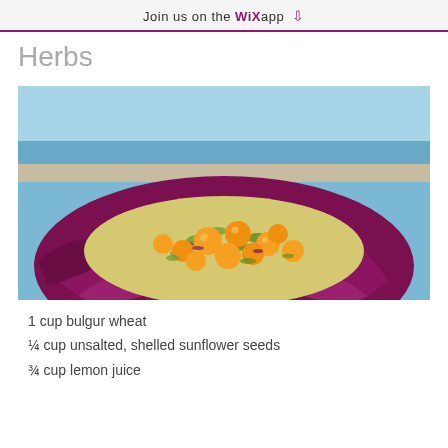Join us on the WiX app ↓
Herbs
[Figure (photo): A colorful salad served in a red/purple cabbage leaf bowl, featuring orange cherry tomatoes or melon balls, chopped herbs and grains (bulgur), with a beach and ocean in the background.]
1 cup bulgur wheat
¼ cup unsalted, shelled sunflower seeds
¾ cup lemon juice